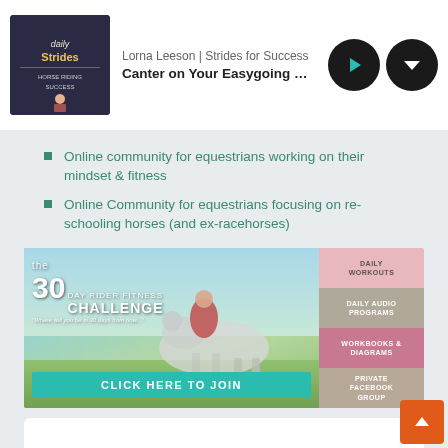Lorna Leeson | Strides for Success — Canter on Your Easygoing or Lazy H
Online community for equestrians working on their mindset & fitness
Online Community for equestrians focusing on re-schooling horses (and ex-racehorses)
[Figure (illustration): 30 Day Rider Fitness Challenge advertisement banner featuring a rider on a white horse, with sections: Daily Workouts, Daily Audio Programs, Workbooks & Diagrams, Private Facebook Group, and a teal CLICK HERE TO JOIN button]
[Figure (photo): Partially visible white card at the bottom of the page]